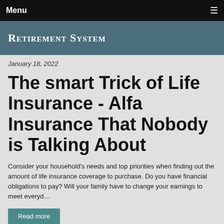Menu
Retirement System
January 18, 2022
The smart Trick of Life Insurance - Alfa Insurance That Nobody is Talking About
Consider your household's needs and top priorities when finding out the amount of life insurance coverage to purchase. Do you have financial obligations to pay? Will your family have to change your earnings to meet everyd…
Read more